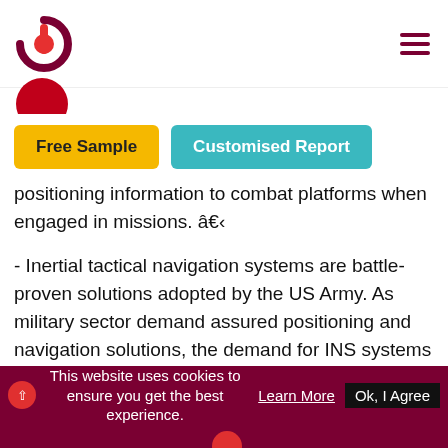Free Sample    Customised Report
positioning information to combat platforms when engaged in missions. â€‹
- Inertial tactical navigation systems are battle-proven solutions adopted by the US Army. As military sector demand assured positioning and navigation solutions, the demand for INS systems is expected to increase rapidly.â€‹
- There is also a demand for inertial systems in the US maritime sector, primarily owing to the renewed emphasis on oil exploration activities.
This website uses cookies to ensure you get the best experience.    Learn More    Ok, I Agree